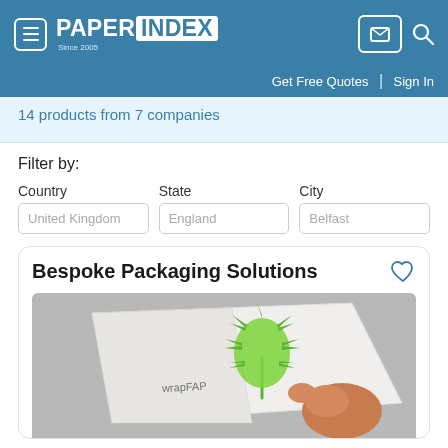PAPER INDEX Since 2005
Get Free Quotes | Sign In
14 products from 7 companies
Filter by:
Country: United Kingdom  State: England  City: Belfast
Bespoke Packaging Solutions
[Figure (photo): A hand holding a folded white paper/packaging material with a green leaf/plant logo printed on it, set against a grey background.]